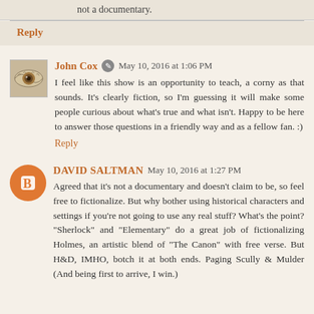not a documentary.
Reply
John Cox  May 10, 2016 at 1:06 PM
I feel like this show is an opportunity to teach, a corny as that sounds. It's clearly fiction, so I'm guessing it will make some people curious about what's true and what isn't. Happy to be here to answer those questions in a friendly way and as a fellow fan. :)
Reply
DAVID SALTMAN  May 10, 2016 at 1:27 PM
Agreed that it's not a documentary and doesn't claim to be, so feel free to fictionalize. But why bother using historical characters and settings if you're not going to use any real stuff? What's the point? "Sherlock" and "Elementary" do a great job of fictionalizing Holmes, an artistic blend of "The Canon" with free verse. But H&D, IMHO, botch it at both ends. Paging Scully & Mulder (And being first to arrive, I win.)